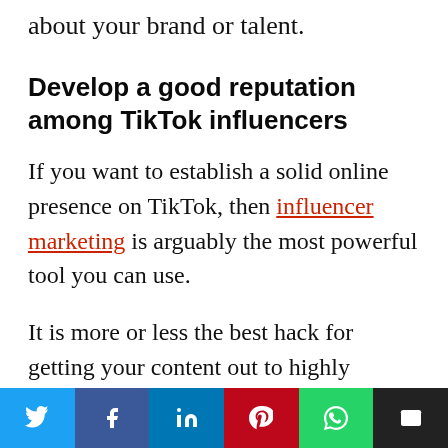about your brand or talent.
Develop a good reputation among TikTok influencers
If you want to establish a solid online presence on TikTok, then influencer marketing is arguably the most powerful tool you can use.
It is more or less the best hack for getting your content out to highly engaged audiences. Since influencers are effective...